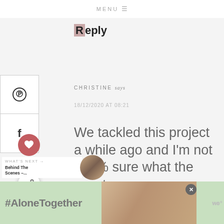MENU ☰
Reply
CHRISTINE says
18/12/2020 AT 08:21
We tackled this project a while ago and I'm not 100% sure what the exact
[Figure (screenshot): Social media share sidebar with Pinterest icon, Facebook icon, heart/like button with count of 10, and share button]
WHAT'S NEXT → Behind The Scenes –...
[Figure (photo): Small circular thumbnail photo for 'What's Next' navigation]
[Figure (photo): Advertisement banner with #AloneTogether text and photo of people]